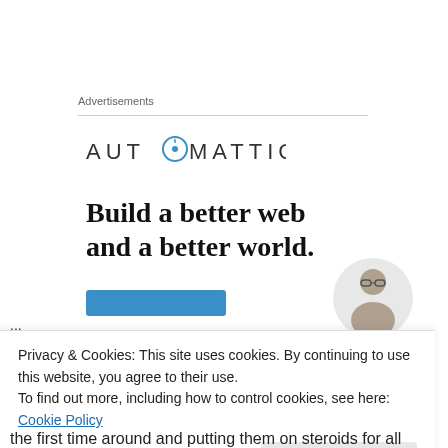Advertisements
[Figure (logo): Automattic logo with compass icon in the letter O]
Build a better web and a better world.
[Figure (illustration): Blue button/CTA and partial photo of a person with glasses on a light grey circular background]
Privacy & Cookies: This site uses cookies. By continuing to use this website, you agree to their use.
To find out more, including how to control cookies, see here: Cookie Policy
Close and accept
the first time around and putting them on steroids for all